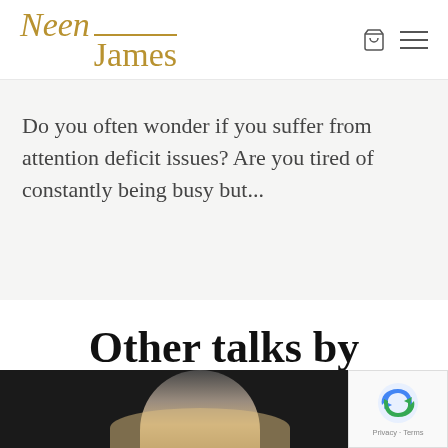Neen James
Do you often wonder if you suffer from attention deficit issues? Are you tired of constantly being busy but...
Other talks by Neen
[Figure (photo): Photo of a woman with blonde hair against a dark background, partially visible at the bottom of the page]